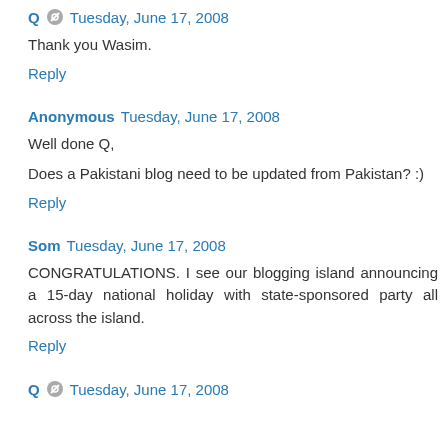Q  Tuesday, June 17, 2008
Thank you Wasim.
Reply
Anonymous  Tuesday, June 17, 2008
Well done Q,
Does a Pakistani blog need to be updated from Pakistan? :)
Reply
Som  Tuesday, June 17, 2008
CONGRATULATIONS. I see our blogging island announcing a 15-day national holiday with state-sponsored party all across the island.
Reply
Q  Tuesday, June 17, 2008